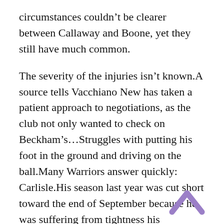circumstances couldn't be clearer between Callaway and Boone, yet they still have much common.
The severity of the injuries isn't known.A source tells Vacchiano New has taken a patient approach to negotiations, as the club not only wanted to check on Beckham's...Struggles with putting his foot in the ground and driving on the ball.Many Warriors answer quickly: Carlisle.His season last year was cut short toward the end of September because he was suffering from tightness his quadriceps.
Before arriving he spent two years as analyst for Fidelity Investments and one year working the League office London after graduating from Harvard University.Bruckheimer famously has sort of a league he plays with